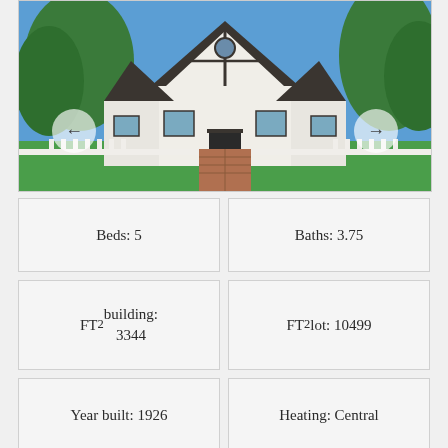[Figure (photo): Exterior photo of a white Tudor-style house with dark trim, white picket fence, brick walkway, and trees. Navigation arrows on left and right side.]
Beds: 5
Baths: 3.75
FT² building: 3344
FT² lot: 10499
Year built: 1926
Heating: Central
Cooling: Central
Garage type: 2 Car Detached